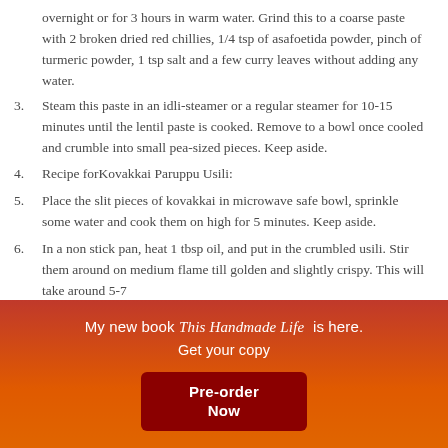overnight or for 3 hours in warm water. Grind this to a coarse paste with 2 broken dried red chillies, 1/4 tsp of asafoetida powder, pinch of turmeric powder, 1 tsp salt and a few curry leaves without adding any water.
3. Steam this paste in an idli-steamer or a regular steamer for 10-15 minutes until the lentil paste is cooked. Remove to a bowl once cooled and crumble into small pea-sized pieces. Keep aside.
4. Recipe forKovakkai Paruppu Usili:
5. Place the slit pieces of kovakkai in microwave safe bowl, sprinkle some water and cook them on high for 5 minutes. Keep aside.
6. In a non stick pan, heat 1 tbsp oil, and put in the crumbled usili. Stir them around on medium flame till golden and slightly crispy. This will take around 5-7
My new book This Handmade Life is here. Get your copy Pre-order Now